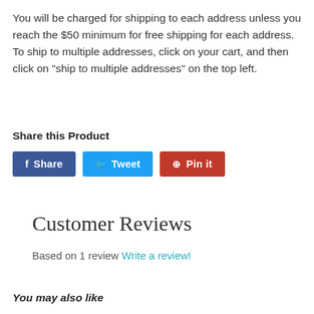You will be charged for shipping to each address unless you reach the $50 minimum for free shipping for each address. To ship to multiple addresses, click on your cart, and then click on "ship to multiple addresses" on the top left.
Share this Product
[Figure (other): Three social sharing buttons: Facebook Share (blue), Twitter Tweet (light blue), Pinterest Pin it (red)]
Customer Reviews
Based on 1 review Write a review!
You may also like